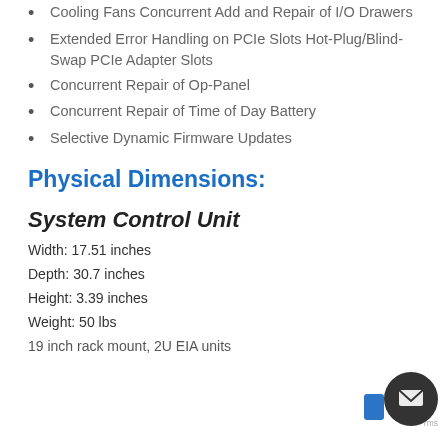Cooling Fans Concurrent Add and Repair of I/O Drawers
Extended Error Handling on PCIe Slots Hot-Plug/Blind-Swap PCIe Adapter Slots
Concurrent Repair of Op-Panel
Concurrent Repair of Time of Day Battery
Selective Dynamic Firmware Updates
Physical Dimensions:
System Control Unit
Width: 17.51 inches
Depth: 30.7 inches
Height: 3.39 inches
Weight: 50 lbs
19 inch rack mount, 2U EIA units